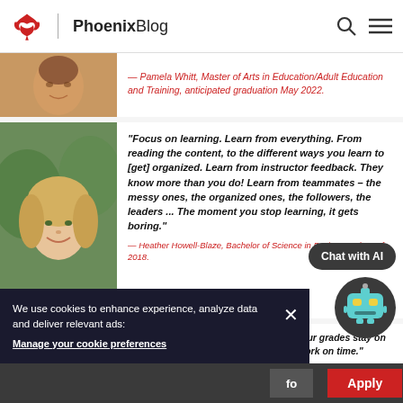Phoenix Blog
— Pamela Whitt, Master of Arts in Education/Adult Education and Training, anticipated graduation May 2022.
[Figure (photo): Headshot of Pamela Whitt, smiling woman with brown hair]
[Figure (photo): Headshot of Heather Howell-Blaze, blonde woman smiling outdoors]
“Focus on learning. Learn from everything. From reading the content, to the different ways you learn to [get] organized. Learn from instructor feedback. They know more than you do! Learn from teammates – the messy ones, the organized ones, the followers, the leaders ... The moment you stop learning, it gets boring.”
— Heather Howell-Blaze, Bachelor of Science in Business, Class of 2018.
[Figure (photo): Headshot of third student, young Black woman]
“Stay on top of your grades, don’t let your grades stay on top of you. [Also,] do all of your homework on time.”
We use cookies to enhance experience, analyze data and deliver relevant ads:
Manage your cookie preferences